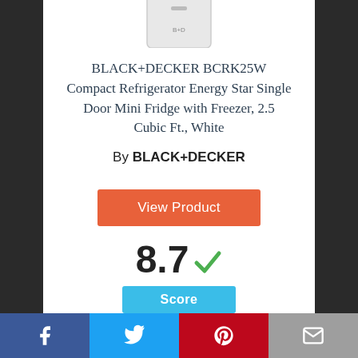[Figure (photo): White compact mini refrigerator (BLACK+DECKER BCRK25W) partially visible, cropped at top]
BLACK+DECKER BCRK25W Compact Refrigerator Energy Star Single Door Mini Fridge with Freezer, 2.5 Cubic Ft., White
By BLACK+DECKER
View Product
8.7
Score